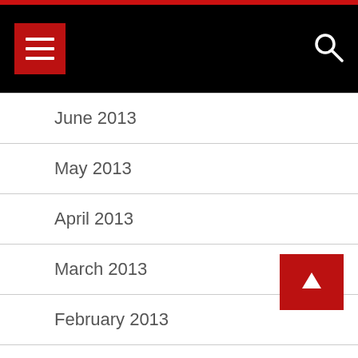Navigation bar with menu and search
June 2013
May 2013
April 2013
March 2013
February 2013
January 2013
December 2012
November 2012
October 2012